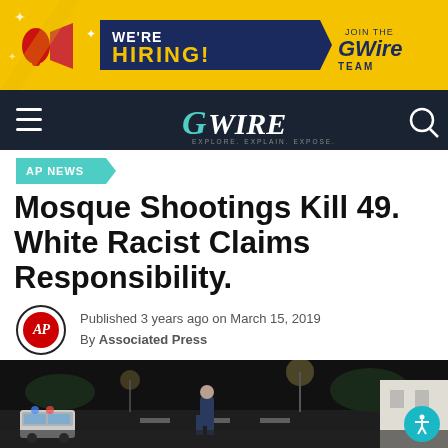[Figure (infographic): GWire 'We're Hiring!' banner with megaphone graphic on yellow background]
[Figure (logo): GWire navigation bar with hamburger menu, GWire logo, and search icon on dark background]
AP NEWS
Mosque Shootings Kill 49. White Racist Claims Responsibility.
Published 3 years ago on March 15, 2019
By Associated Press
[Figure (photo): Night-time street photo showing a police officer standing in a street with police cars and street lights]